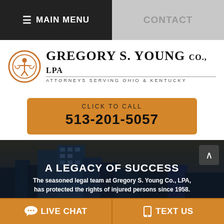≡ MAIN MENU | CONTACT
[Figure (logo): Gregory S. Young Co., LPA law firm logo with scales of justice icon and text 'ATTORNEYS SERVING OHIO & KENTUCKY']
CLICK TO CALL
513-201-5057
[Figure (photo): City skyline at dusk with tall glass buildings, dark overlay]
A LEGACY OF SUCCESS
The seasoned legal team at Gregory S. Young Co., LPA, has protected the rights of injured persons since 1958.
LIVE CHAT   TEXT US